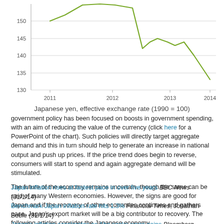[Figure (line-chart): Japanese yen, effective exchange rate (1990 = 100)]
Japanese yen, effective exchange rate (1990 = 100)
government policy has been focused on boosts in government spending, with an aim of reducing the value of the currency (click here for a PowerPoint of the chart). Such policies will directly target aggregate demand and this in turn should help to generate an increase in national output and push up prices. If the price trend does begin to reverse, consumers will start to spend and again aggregate demand will be stimulated.
The future of the economy remains uncertain, though the same can be said of many Western economies. However, the signs are good for Japan and if the recovery of other economies continues and gathers pace, Japan's export market will be a big contributor to recovery. The following articles consider the Japanese economy.
Japan inflation rises at fastest pace in over five years BBC News (31/1/14)
Benchmark Japan inflation rate hits 1.3% Financial Times, Jonathan Soble (31/1/14)
Japan's inflation accelerates as Abe seeks wage gains Bloomberg, Chikako Mogi, Masahiro Hidaka and James Mayger (31/1/14)
Japan inflation quickens to over 5-year high, output rebounds Reuters, Leika Kihara and Stanley White (31/1/14)